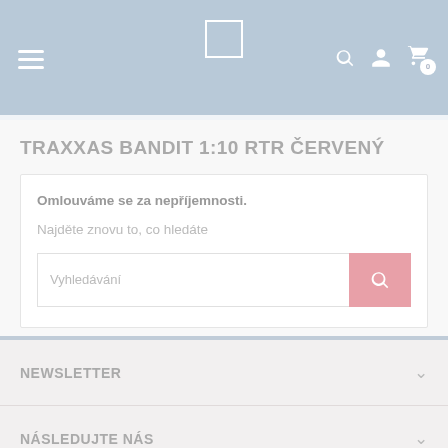Navigation bar with hamburger menu, logo, search, account, and cart icons
TRAXXAS BANDIT 1:10 RTR ČERVENÝ
Omlouváme se za nepříjemnosti.
Najděte znovu to, co hledáte
Vyhledávání (search input)
NEWSLETTER
NÁSLEDUJTE NÁS